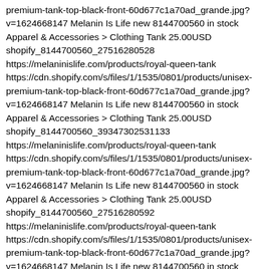premium-tank-top-black-front-60d677c1a70ad_grande.jpg?v=1624668147 Melanin Is Life new 8144700560 in stock Apparel & Accessories > Clothing Tank 25.00USD shopify_8144700560_27516280528 https://melaninislife.com/products/royal-queen-tank https://cdn.shopify.com/s/files/1/1535/0801/products/unisex-premium-tank-top-black-front-60d677c1a70ad_grande.jpg?v=1624668147 Melanin Is Life new 8144700560 in stock Apparel & Accessories > Clothing Tank 25.00USD shopify_8144700560_39347302531133 https://melaninislife.com/products/royal-queen-tank https://cdn.shopify.com/s/files/1/1535/0801/products/unisex-premium-tank-top-black-front-60d677c1a70ad_grande.jpg?v=1624668147 Melanin Is Life new 8144700560 in stock Apparel & Accessories > Clothing Tank 25.00USD shopify_8144700560_27516280592 https://melaninislife.com/products/royal-queen-tank https://cdn.shopify.com/s/files/1/1535/0801/products/unisex-premium-tank-top-black-front-60d677c1a70ad_grande.jpg?v=1624668147 Melanin Is Life new 8144700560 in stock Apparel & Accessories > Clothing Tank 25.00USD shopify_8144700560_39347302563901 https://melaninislife.com/products/royal-queen-tank https://cdn.shopify.com/s/files/1/1535/0801/products/unisex-premium-tank-top-black-front-60d677c1a70ad_grande.jpg?v=1624668147 Melanin Is Life new 8144700560 in stock Apparel